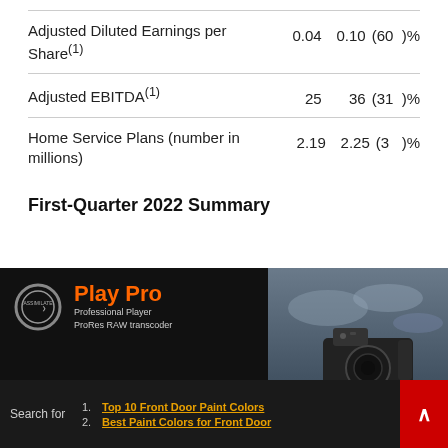|  |  |  |  |
| --- | --- | --- | --- |
| Adjusted Diluted Earnings per Share(1) | 0.04 | 0.10 | (60 )% |
| Adjusted EBITDA(1) | 25 | 36 | (31 )% |
| Home Service Plans (number in millions) | 2.19 | 2.25 | (3 )% |
First-Quarter 2022 Summary
[Figure (photo): Advertisement banner for Assimilate Play Pro — Professional Player and ProRes RAW transcoder. Save 50%. Shows a professional camera on a gimbal against a cloudy sky background.]
1. Top 10 Front Door Paint Colors
2. Best Paint Colors for Front Door